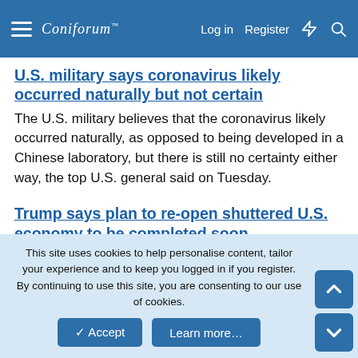Coniforum — Log in Register
U.S. military says coronavirus likely occurred naturally but not certain
The U.S. military believes that the coronavirus likely occurred naturally, as opposed to being developed in a Chinese laboratory, but there is still no certainty either way, the top U.S. general said on Tuesday.
Trump says plan to re-open shuttered U.S. economy to be completed soon
President Donald Trump said on Monday that his administration was close to completing a plan to re-open the U.S. economy, which has been largely shut down to slow the spread of the novel coronavirus.
This site uses cookies to help personalise content, tailor your experience and to keep you logged in if you register.
By continuing to use this site, you are consenting to our use of cookies.
Accept   Learn more...